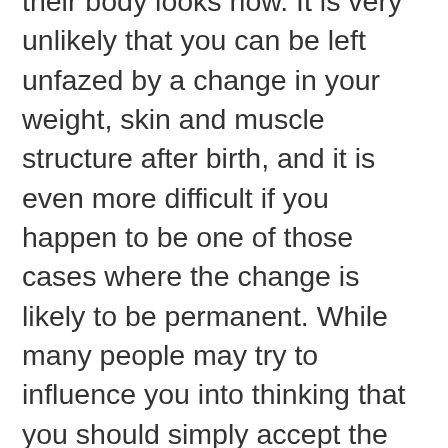their body looks now. It is very unlikely that you can be left unfazed by a change in your weight, skin and muscle structure after birth, and it is even more difficult if you happen to be one of those cases where the change is likely to be permanent. While many people may try to influence you into thinking that you should simply accept the way you now look, the truth is that they are not inside your skin and cannot feel the emotional impact that childbirth has on a woman. New clothes and new physical challenges are only a few things that become very different after childbirth, but that doesn't mean that there is nothing to be done. Korean plastic surgery is a wonderful chance to go give your body a